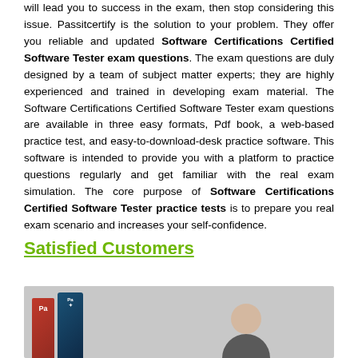will lead you to success in the exam, then stop considering this issue. Passitcertify is the solution to your problem. They offer you reliable and updated Software Certifications Certified Software Tester exam questions. The exam questions are duly designed by a team of subject matter experts; they are highly experienced and trained in developing exam material. The Software Certifications Certified Software Tester exam questions are available in three easy formats, Pdf book, a web-based practice test, and easy-to-download-desk practice software. This software is intended to provide you with a platform to practice questions regularly and get familiar with the real exam simulation. The core purpose of Software Certifications Certified Software Tester practice tests is to prepare you real exam scenario and increases your self-confidence.
Satisfied Customers
[Figure (photo): Photo of a bald man on the right side and stacked certification study guide books on the left side, against a gray background.]